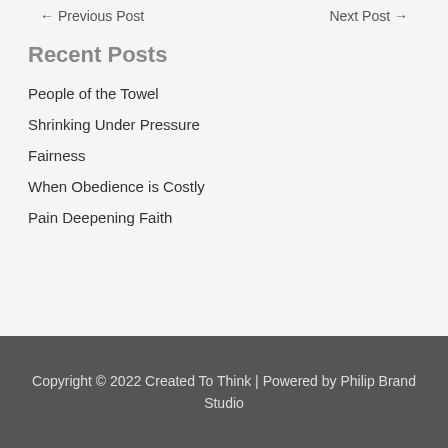← Previous Post    Next Post →
Recent Posts
People of the Towel
Shrinking Under Pressure
Fairness
When Obedience is Costly
Pain Deepening Faith
Copyright © 2022 Created To Think | Powered by Philip Brand Studio